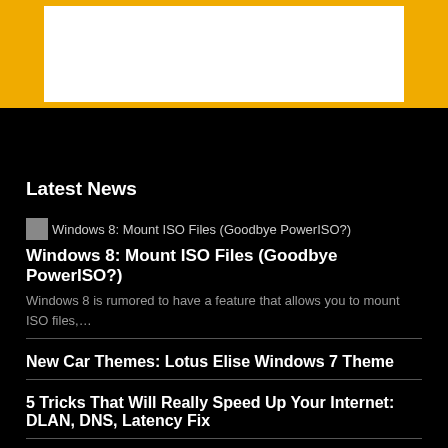[Figure (other): Yellow top bar with white content box]
Latest News
[Figure (other): Broken image placeholder for Windows 8: Mount ISO Files (Goodbye PowerISO?)]
Windows 8: Mount ISO Files (Goodbye PowerISO?)
Windows 8 is rumored to have a feature that allows you to mount ISO files,…
New Car Themes: Lotus Elise Windows 7 Theme
5 Tricks That Will Really Speed Up Your Internet: DLAN, DNS, Latency Fix
Remind Yourself To Take Medication With Pillbox On Windows 10